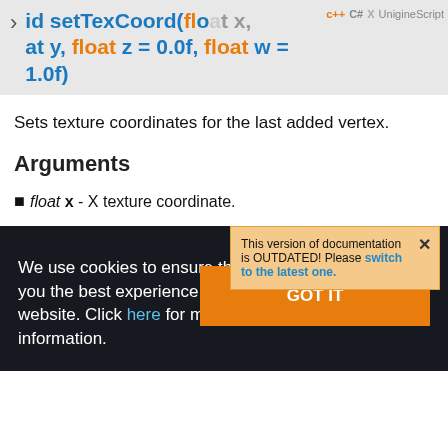void setTexCoord(float x, float y, float z = 0.0f, float w = 1.0f)
Sets texture coordinates for the last added vertex.
This version of documentation is OUTDATED! Please switch to the latest one.
Arguments
float x - X texture coordinate.
We use cookies to ensure that we give you the best experience on our website. Click here for more information.